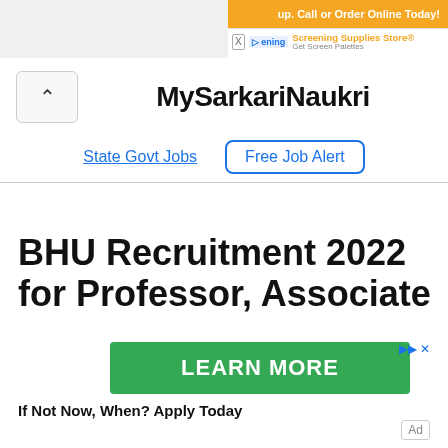[Figure (screenshot): Top advertisement banner showing 'up. Call or Order Online Today!' in orange and a Screening Supplies Store ad row below]
MySarkariNaukri
State Govt Jobs   Free Job Alert
BHU Recruitment 2022 for Professor, Associate
[Figure (other): Green LEARN MORE advertisement button with ad badge icons]
If Not Now, When? Apply Today
Ad